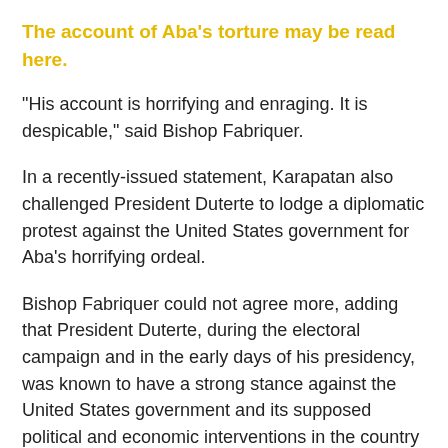The account of Aba's torture may be read here.
“His account is horrifying and enraging. It is despicable,” said Bishop Fabriquer.
In a recently-issued statement, Karapatan also challenged President Duterte to lodge a diplomatic protest against the United States government for Aba’s horrifying ordeal.
Bishop Fabriquer could not agree more, adding that President Duterte, during the electoral campaign and in the early days of his presidency, was known to have a strong stance against the United States government and its supposed political and economic interventions in the country and even its human rights record. Unfortunately, such stance has long ceased to exist.
“We remain hopeful, no matter how dim it may be, that the Philippine government will stand for its people. After all, this president is quite infamous for changing his mind often — perhaps, even too often. But this time, it must be